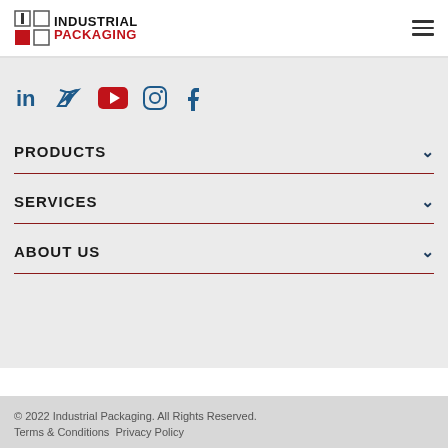[Figure (logo): Industrial Packaging logo with icon showing two squares and a red square, with bold black INDUSTRIAL and red PACKAGING text]
[Figure (infographic): Social media icons row: LinkedIn, Twitter, YouTube (red), Instagram, Facebook in dark blue]
PRODUCTS
SERVICES
ABOUT US
© 2022 Industrial Packaging. All Rights Reserved.
Terms & Conditions Privacy Policy